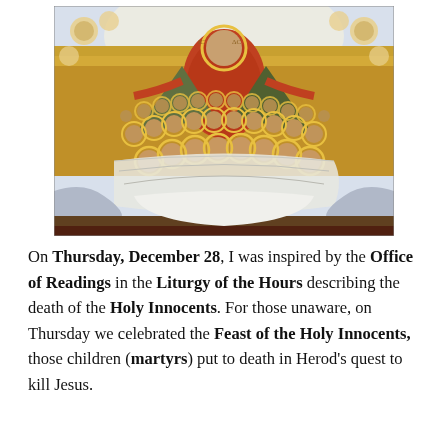[Figure (illustration): Religious icon painting depicting Christ figure with outstretched arms standing above a large crowd of children (Holy Innocents) with golden halos, all wrapped in flowing white robes. Angels appear in the upper corners. The background is golden. This is a Byzantine-style icon.]
On Thursday, December 28, I was inspired by the Office of Readings in the Liturgy of the Hours describing the death of the Holy Innocents. For those unaware, on Thursday we celebrated the Feast of the Holy Innocents, those children (martyrs) put to death in Herod's quest to kill Jesus.